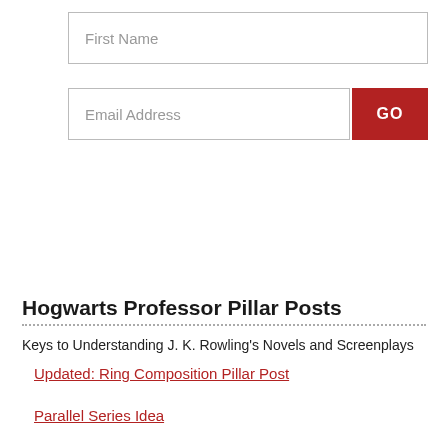[Figure (other): Web form with First Name text input field]
[Figure (other): Web form with Email Address text input field and red GO button]
Hogwarts Professor Pillar Posts
Keys to Understanding J. K. Rowling’s Novels and Screenplays
Updated: Ring Composition Pillar Post
Parallel Series Idea